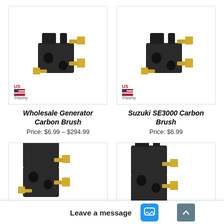[Figure (photo): Carbon brush component with black plastic housing and gold metal terminals, US Shipping badge in corner]
Wholesale Generator Carbon Brush
Price:  $6.99 – $294.99
[Figure (photo): Carbon brush component with black plastic housing and gold metal terminals, US Shipping badge in corner]
Suzuki SE3000 Carbon Brush
Price:  $6.99
[Figure (photo): Carbon brush component with black plastic housing and gold metal terminals, partially visible]
[Figure (photo): Carbon brush component with black plastic housing and gold metal terminals, partially visible]